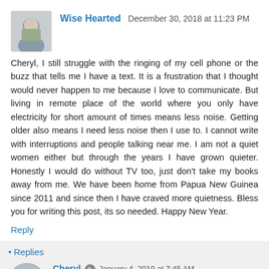Wise Hearted  December 30, 2018 at 11:23 PM
Cheryl, I still struggle with the ringing of my cell phone or the buzz that tells me I have a text. It is a frustration that I thought would never happen to me because I love to communicate. But living in remote place of the world where you only have electricity for short amount of times means less noise. Getting older also means I need less noise then I use to. I cannot write with interruptions and people talking near me. I am not a quiet women either but through the years I have grown quieter. Honestly I would do without TV too, just don't take my books away from me. We have been home from Papua New Guinea since 2011 and since then I have craved more quietness. Bless you for writing this post, its so needed. Happy New Year.
Reply
Replies
Cheryl  January 4, 2019 at 7:45 AM
I know what you mean, my friend. It is hard to